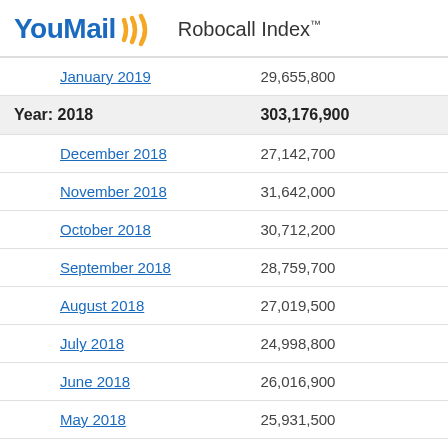YouMail Robocall Index™
| Month | Count |
| --- | --- |
| January 2019 | 29,655,800 |
| Year: 2018 | 303,176,900 |
| December 2018 | 27,142,700 |
| November 2018 | 31,642,000 |
| October 2018 | 30,712,200 |
| September 2018 | 28,759,700 |
| August 2018 | 27,019,500 |
| July 2018 | 24,998,800 |
| June 2018 | 26,016,900 |
| May 2018 | 25,931,500 |
| April 2018 | 22,067,600 |